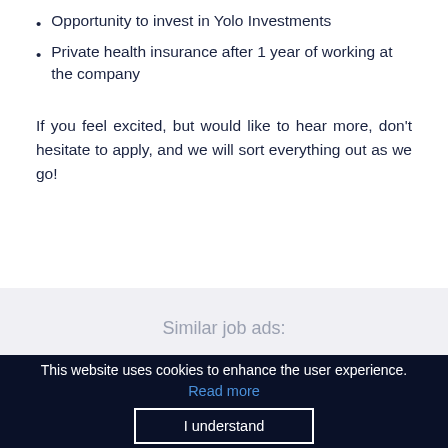Opportunity to invest in Yolo Investments
Private health insurance after 1 year of working at the company
If you feel excited, but would like to hear more, don't hesitate to apply, and we will sort everything out as we go!
Similar job ads:
This website uses cookies to enhance the user experience. Read more
I understand